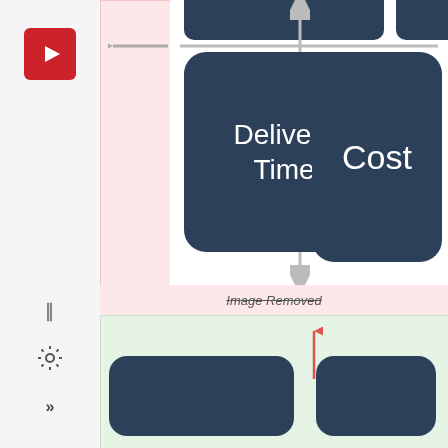[Figure (screenshot): Application UI screenshot showing a slide with a diagram. The diagram contains dark navy rounded-rectangle cards labeled 'Delivery Time' and 'Cost' arranged in a grid with grey bidirectional arrows. A left-pointing grey arrow appears on the left side. Below is a pink 'Image Removed' placeholder bar. A green section below contains additional partially visible dark navy cards with a red upward arrow. Left sidebar has a red Coursera-style logo, pause icon, gear icon, and double-arrow icon.]